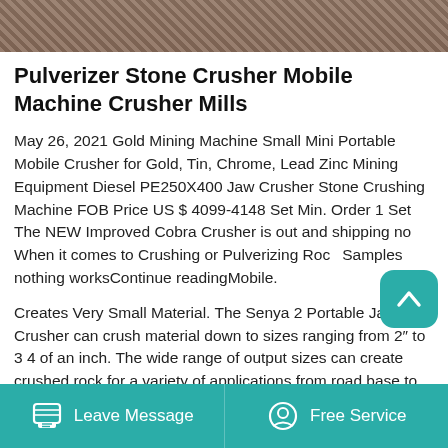[Figure (photo): Top portion of a photo showing a stone crusher machine / mining equipment scene, partially visible at the top of the page.]
Pulverizer Stone Crusher Mobile Machine Crusher Mills
May 26, 2021 Gold Mining Machine Small Mini Portable Mobile Crusher for Gold, Tin, Chrome, Lead Zinc Mining Equipment Diesel PE250X400 Jaw Crusher Stone Crushing Machine FOB Price US $ 4099-4148 Set Min. Order 1 Set The NEW Improved Cobra Crusher is out and shipping now. When it comes to Crushing or Pulverizing Rock Samples nothing worksContinue readingMobile.
Creates Very Small Material. The Senya 2 Portable Jaw Crusher can crush material down to sizes ranging from 2″ to 3 4 of an inch. The wide range of output sizes can create crushed rock for a variety of applications from road base to decorative
Leave Message   Free Service